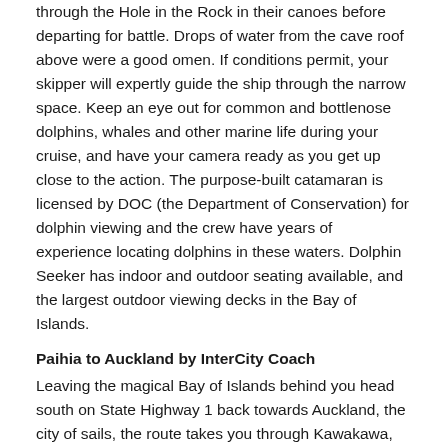through the Hole in the Rock in their canoes before departing for battle. Drops of water from the cave roof above were a good omen. If conditions permit, your skipper will expertly guide the ship through the narrow space. Keep an eye out for common and bottlenose dolphins, whales and other marine life during your cruise, and have your camera ready as you get up close to the action. The purpose-built catamaran is licensed by DOC (the Department of Conservation) for dolphin viewing and the crew have years of experience locating dolphins in these waters. Dolphin Seeker has indoor and outdoor seating available, and the largest outdoor viewing decks in the Bay of Islands.
Paihia to Auckland by InterCity Coach
Leaving the magical Bay of Islands behind you head south on State Highway 1 back towards Auckland, the city of sails, the route takes you through Kawakawa, affectionately known as 'train town'. The farming regions of Wellsford and Warkworth accompany you the rest of the journey before passing through the suburbs of the North Shore and crossing the harbour bridge and into the heart of